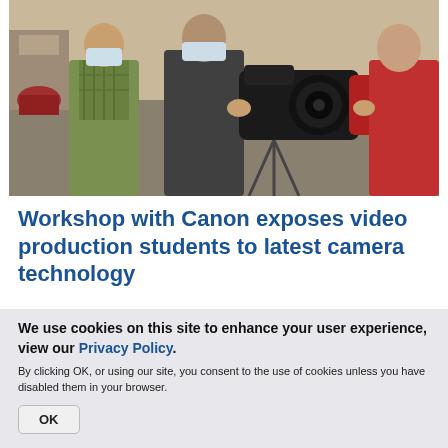[Figure (photo): Students in masks working with a professional video camera in a classroom setting; multiple people gathered around the camera equipment]
Workshop with Canon exposes video production students to latest camera technology
As a senior in video production at UW-Stout, Claire Taubel is looking forward to starting her career, which she hopes will take her into
We use cookies on this site to enhance your user experience, view our Privacy Policy.
By clicking OK, or using our site, you consent to the use of cookies unless you have disabled them in your browser.
OK